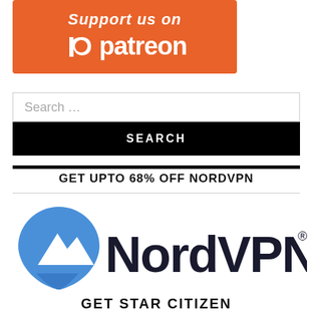[Figure (logo): Patreon support banner with orange background, Patreon logo and 'Support us on patreon' text in white]
Search …
SEARCH
GET UPTO 68% OFF NORDVPN
[Figure (logo): NordVPN logo: blue shield/mountain icon on left, NordVPN wordmark in dark text with registered trademark symbol on right]
GET STAR CITIZEN